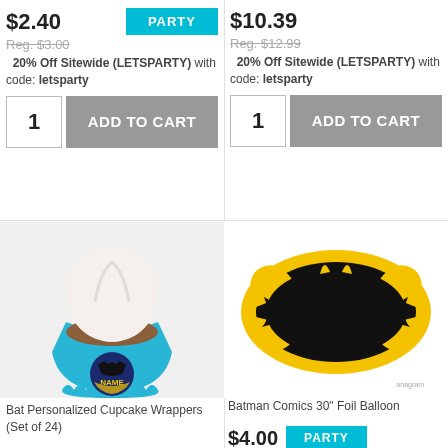$2.40
PARTY
Reg. $3.00
20% Off Sitewide (LETSPARTY) with code: letsparty
1  ADD TO CART
$10.39
Reg. $12.99
20% Off Sitewide (LETSPARTY) with code: letsparty
1  ADD TO CART
[Figure (photo): Cupcake with white frosting in a teal blue wrapper with a Batman themed circular topper showing NAME text]
[Figure (photo): Batman Comics 30 inch foil balloon shaped like the Batman logo in black and yellow with polka dots]
Bat Personalized Cupcake Wrappers (Set of 24)
Batman Comics 30" Foil Balloon
$4.00
PARTY